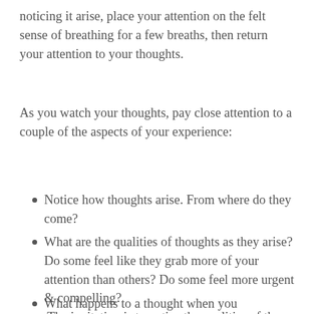noticing it arise, place your attention on the felt sense of breathing for a few breaths, then return your attention to your thoughts.
As you watch your thoughts, pay close attention to a couple of the aspects of your experience:
Notice how thoughts arise. From where do they come?
What are the qualities of thoughts as they arise? Do some feel like they grab more of your attention than others? Do some feel more urgent & compelling?  The invitation is to notice the qualities of those that do feel more 'sticky.'
What happens to a thought when you